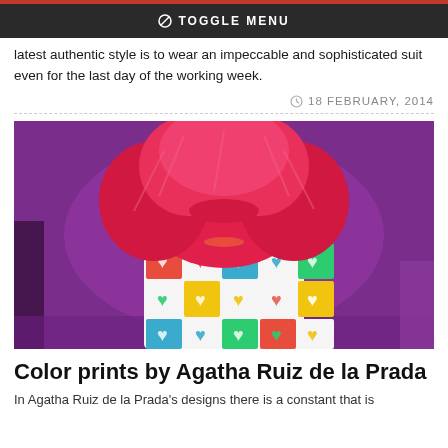⊘ TOGGLE MENU
latest authentic style is to wear an impeccable and sophisticated suit even for the last day of the working week.
18 FEBRUARY, 2014
[Figure (photo): Fashion model with voluminous bright pink/red hair wearing a colorful heart-print dress on a runway with purple background]
Color prints by Agatha Ruiz de la Prada
In Agatha Ruiz de la Prada's designs there is a constant that is